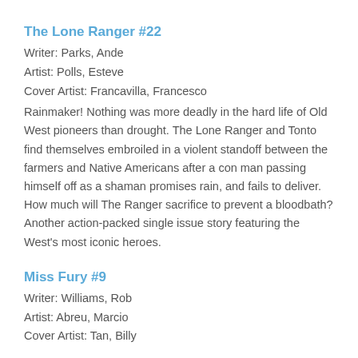The Lone Ranger #22
Writer: Parks, Ande
Artist: Polls, Esteve
Cover Artist: Francavilla, Francesco
Rainmaker! Nothing was more deadly in the hard life of Old West pioneers than drought. The Lone Ranger and Tonto find themselves embroiled in a violent standoff between the farmers and Native Americans after a con man passing himself off as a shaman promises rain, and fails to deliver. How much will The Ranger sacrifice to prevent a bloodbath? Another action-packed single issue story featuring the West's most iconic heroes.
Miss Fury #9
Writer: Williams, Rob
Artist: Abreu, Marcio
Cover Artist: Tan, Billy